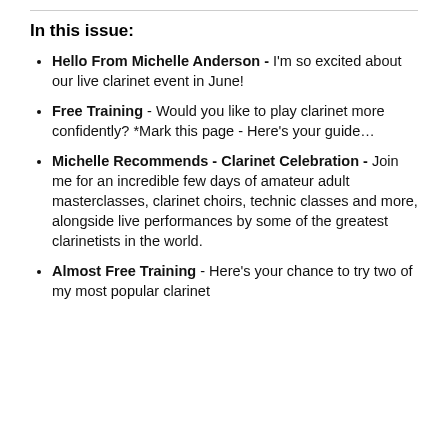In this issue:
Hello From Michelle Anderson - I'm so excited about our live clarinet event in June!
Free Training - Would you like to play clarinet more confidently? *Mark this page - Here's your guide…
Michelle Recommends - Clarinet Celebration - Join me for an incredible few days of amateur adult masterclasses, clarinet choirs, technic classes and more, alongside live performances by some of the greatest clarinetists in the world.
Almost Free Training - Here's your chance to try two of my most popular clarinet